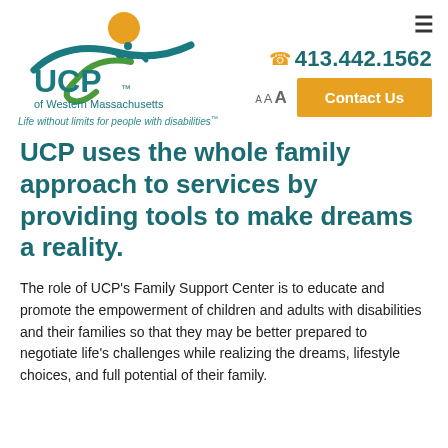[Figure (logo): UCP of Western Massachusetts logo with sun, figure, and swoosh in teal, gold, and green]
Life without limits for people with disabilities™
413.442.1562
Contact Us
UCP uses the whole family approach to services by providing tools to make dreams a reality.
The role of UCP's Family Support Center is to educate and promote the empowerment of children and adults with disabilities and their families so that they may be better prepared to negotiate life's challenges while realizing the dreams, lifestyle choices, and full potential of their family.